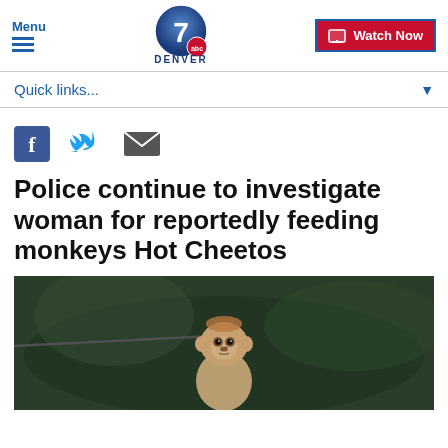Menu | Denver 7 ABC | Watch Now
Quick links...
[Figure (screenshot): Social share icons: Facebook, Twitter, Email]
Police continue to investigate woman for reportedly feeding monkeys Hot Cheetos
[Figure (photo): A small monkey sitting on a wire against a blurred dark green background, looking at the camera]